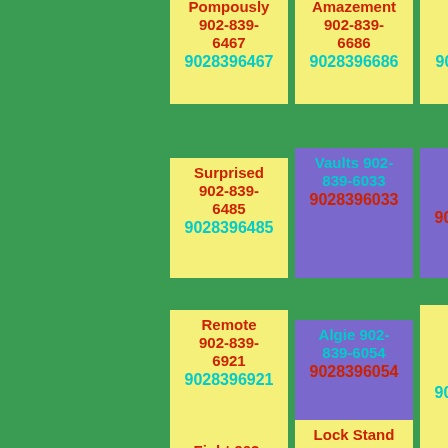Pompously 902-839-6467 9028396467
Amazement 902-839-6686 9028396686
Sunrise 902-839-6699 9028396699
Surprised 902-839-6485 9028396485
Vaults 902-839-6033 9028396033
Banquet 902-839-6050 9028396050
Remote 902-839-6921 9028396921
Algie 902-839-6054 9028396054
Flexible Mustve 902-839-6802 9028396802
Fight 902-839-6645 9028396645
Lock Stand 902-839-6829 9028396829
Flipped Seek Horse 902-839-6242 9028396242